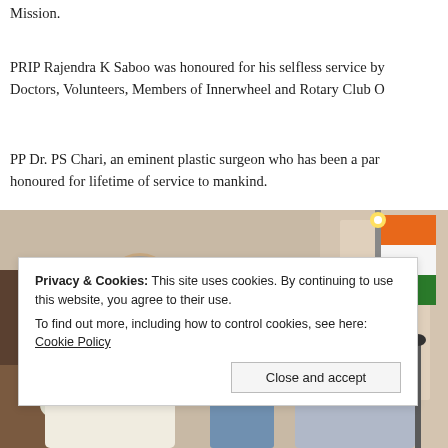Mission.
PRIP Rajendra K Saboo was honoured for his selfless service by Doctors, Volunteers, Members of Innerwheel and Rotary Club O
PP Dr. PS Chari, an eminent plastic surgeon who has been a par honoured for lifetime of service to mankind.
[Figure (photo): Three men at an indoor ceremony. Two older men in formal attire shaking hands or interacting, with an Indian flag in the background. A third man wearing a turban stands in the middle smiling.]
Privacy & Cookies: This site uses cookies. By continuing to use this website, you agree to their use.
To find out more, including how to control cookies, see here: Cookie Policy
Close and accept